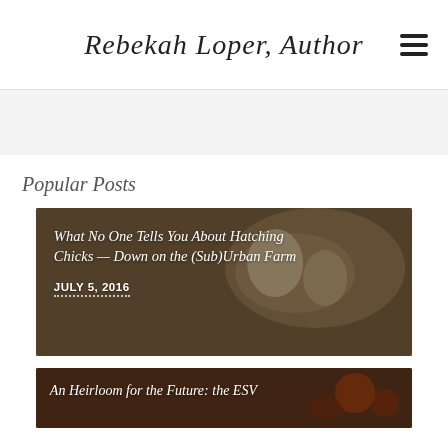Rebekah Loper, Author
Popular Posts
[Figure (photo): Blog post card with dark food/farm photo background showing hatching chicks or eggs on a plate, with overlay text]
What No One Tells You About Hatching Chicks — Down on the (Sub)Urban Farm
JULY 5, 2016
[Figure (photo): Blog post card with dark food/harvest photo background]
An Heirloom for the Future: the ESV